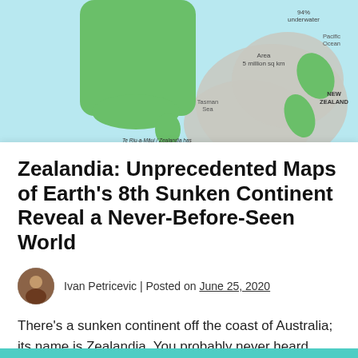[Figure (map): Map of Zealandia / Te Riu-a-Māui showing the submerged continent, with New Zealand visible above water in green, Australia partially visible in green, Tasman Sea labeled, Pacific Ocean labeled, Area 5 million sq km noted, 94% underwater noted, and bullet points listing features: Elevation above surrounding oceanic crust, Diverse geology, Crust thicker than that found in oceans.]
Zealandia: Unprecedented Maps of Earth's 8th Sunken Continent Reveal a Never-Before-Seen World
Ivan Petricevic | Posted on June 25, 2020
There's a sunken continent off the coast of Australia; its name is Zealandia. You probably never heard about it, but...